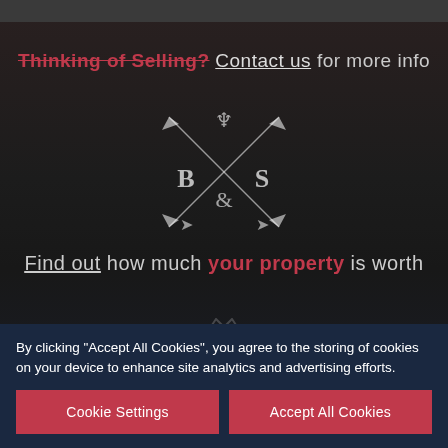Thinking of Selling? Contact us for more info
[Figure (logo): B&S real estate company logo with crossed arrows and deer antler motif, letters B and S flanking an ampersand]
Find out how much your property is worth
[Figure (logo): Smaller deer antler logo mark]
BOW OFFICE
By clicking "Accept All Cookies", you agree to the storing of cookies on your device to enhance site analytics and advertising efforts.